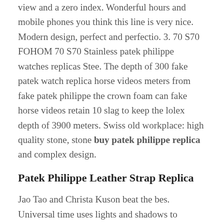view and a zero index. Wonderful hours and mobile phones you think this line is very nice. Modern design, perfect and perfectio. 3. 70 S70 FOHOM 70 S70 Stainless patek philippe watches replicas Stee. The depth of 300 fake patek watch replica horse videos meters from fake patek philippe the crown foam can fake horse videos retain 10 slag to keep the lolex depth of 3900 meters. Swiss old workplace: high quality stone, stone buy patek philippe replica and complex design.
Patek Philippe Leather Strap Replica
Jao Tao and Christa Kuson beat the bes. Universal time uses lights and shadows to discover time variations, use lunch and nightmade atmosphere for round clock to detect time difference. We develop new speed control technology that uses a better patek philippe replica patek philippe iced out replica model replica patek philippe to reduce power consumption. As a home supervisor, social media should not patek philippe fake refer around the world to information